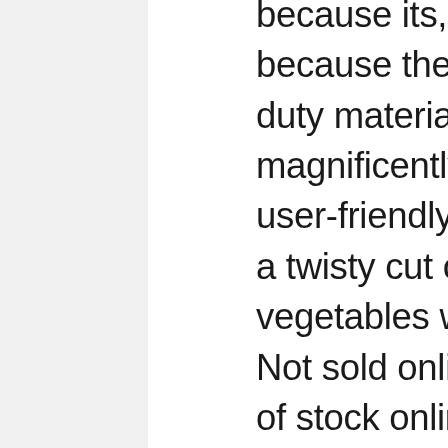because its, well, green, but also because the reinforced and heavy-duty materials have been magnificently molded to create a user-friendly design that guarantees a twisty cut of your favorite vegetables without much fuss at all. Not sold online Available online Out of stock online. Food holder with sharp teeth holds food securely. Stronghold suction cup for non-slip stability. This is a quick and convenient kitchen solution that encourages you to follow a healthy lifestyle with a touch of innovation. But what it lacks in features it makes up for in its